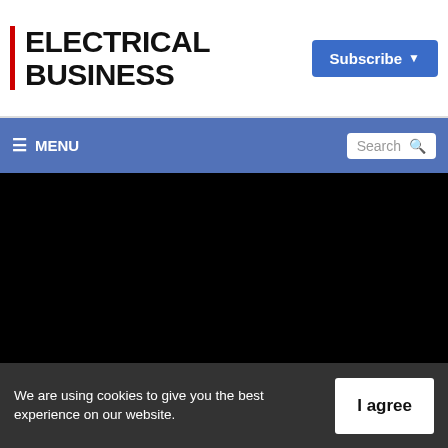ELECTRICAL BUSINESS
Subscribe
≡ MENU
Search
[Figure (other): Black video player area]
We are using cookies to give you the best experience on our website.
I agree
By continuing to use the site, you agree to the use of cookies. To find out more, read our privacy policy.